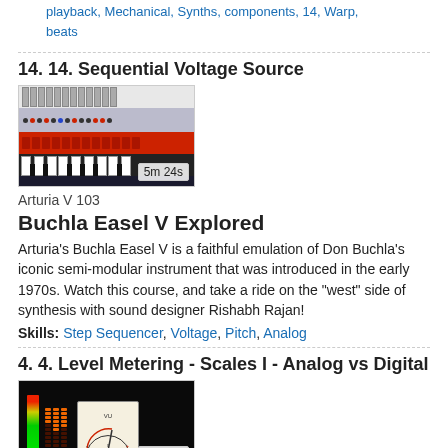playback, Mechanical, Synths, components, 14, Warp, beats
14. 14. Sequential Voltage Source
[Figure (photo): Thumbnail of a synthesizer/sequencer hardware module with sliders and keys, duration badge showing 5m 24s]
Arturia V 103
Buchla Easel V Explored
Arturia's Buchla Easel V is a faithful emulation of Don Buchla's iconic semi-modular instrument that was introduced in the early 1970s. Watch this course, and take a ride on the "west" side of synthesis with sound designer Rishabh Rajan!
Skills: Step Sequencer, Voltage, Pitch, Analog
4. 4. Level Metering - Scales I - Analog vs Digital
[Figure (photo): Thumbnail of audio level metering hardware showing LED meters and VU meter, duration badge showing 4m 51s]